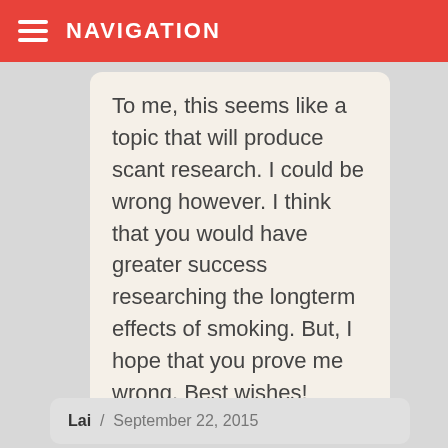NAVIGATION
To me, this seems like a topic that will produce scant research. I could be wrong however. I think that you would have greater success researching the longterm effects of smoking. But, I hope that you prove me wrong. Best wishes!
Lai / September 22, 2015